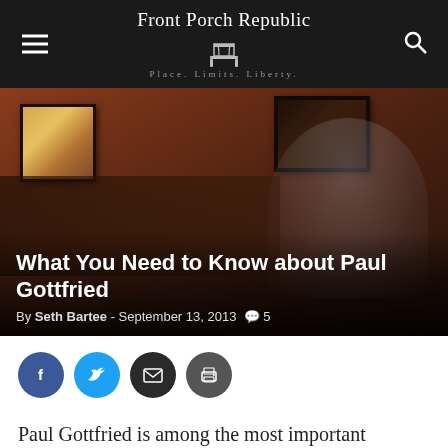Front Porch Republic — Place. Limits. Liberty.
[Figure (photo): Elderly man speaking at a podium or lectern in a room with terracotta-orange walls and paintings; photograph used as hero banner image]
What You Need to Know about Paul Gottfried
By Seth Bartee  -  September 13, 2013  💬 5
[Figure (infographic): Social sharing buttons: Facebook (blue), Twitter (cyan), Email (dark), Print (gray)]
Paul Gottfried is among the most important contemporary conservative thinkers. An